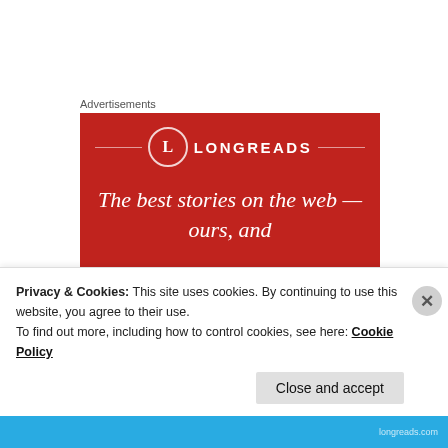Advertisements
[Figure (illustration): Longreads advertisement banner with red background, circular L logo, brand name LONGREADS, and tagline 'The best stories on the web — ours, and']
[Figure (photo): Circular avatar showing a moon photograph]
PAEANSUNPLUGGED
Jul 12, 2020 at 11:57 pm
Privacy & Cookies: This site uses cookies. By continuing to use this website, you agree to their use.
To find out more, including how to control cookies, see here: Cookie Policy
Close and accept